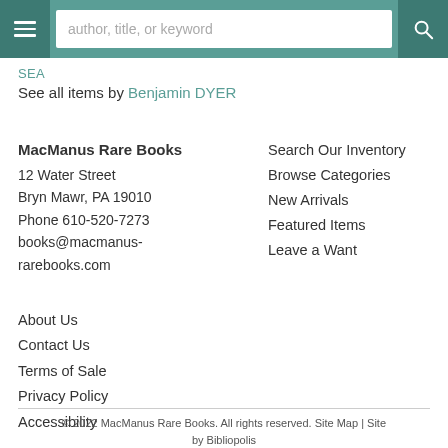author, title, or keyword
SEA
See all items by Benjamin DYER
MacManus Rare Books
12 Water Street
Bryn Mawr, PA 19010
Phone 610-520-7273
books@macmanus-rarebooks.com
Search Our Inventory
Browse Categories
New Arrivals
Featured Items
Leave a Want
About Us
Contact Us
Terms of Sale
Privacy Policy
Accessibility
© 2022 MacManus Rare Books. All rights reserved. Site Map | Site by Bibliopolis